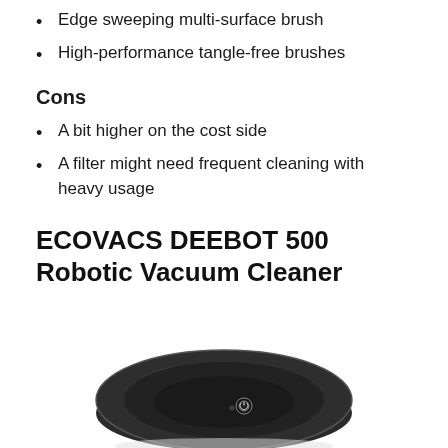Edge sweeping multi-surface brush
High-performance tangle-free brushes
Cons
A bit higher on the cost side
A filter might need frequent cleaning with heavy usage
ECOVACS DEEBOT 500 Robotic Vacuum Cleaner
[Figure (photo): Photo of ECOVACS DEEBOT 500 robotic vacuum cleaner, circular dark-colored device viewed from above at an angle, showing the top panel with a power button]